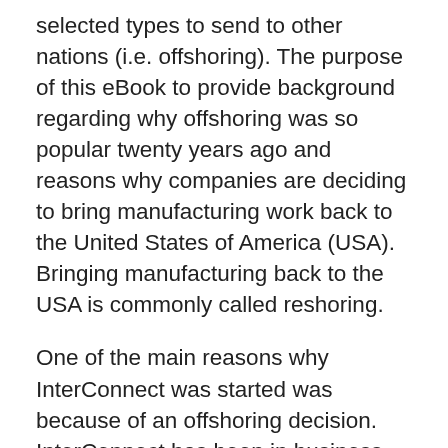selected types to send to other nations (i.e. offshoring). The purpose of this eBook to provide background regarding why offshoring was so popular twenty years ago and reasons why companies are deciding to bring manufacturing work back to the United States of America (USA). Bringing manufacturing back to the USA is commonly called reshoring.
One of the main reasons why InterConnect was started was because of an offshoring decision. InterConnect has been in business now for many years. In 1993, when InterConnect was founded, General Dynamics (now Lockheed Martin) decided to offshore the assembly of F-16 electrical wiring harnesses. A company named Aerotec was setur